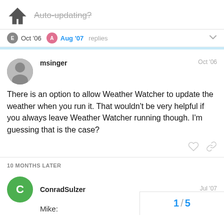Auto-updating?
E Oct '06  A Aug '07  replies
msinger  Oct '06

There is an option to allow Weather Watcher to update the weather when you run it. That wouldn't be very helpful if you always leave Weather Watcher running though. I'm guessing that is the case?
10 MONTHS LATER
ConradSulzer  Jul '07

Mike:
1 / 5